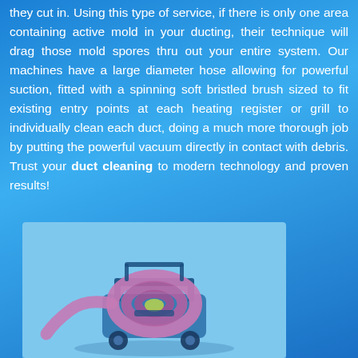they cut in. Using this type of service, if there is only one area containing active mold in your ducting, their technique will drag those mold spores thru out your entire system. Our machines have a large diameter hose allowing for powerful suction, fitted with a spinning soft bristled brush sized to fit existing entry points at each heating register or grill to individually clean each duct, doing a much more thorough job by putting the powerful vacuum directly in contact with debris. Trust your duct cleaning to modern technology and proven results!
[Figure (photo): A duct cleaning machine with a large pink/purple hose coiled around a wheeled unit on a light blue background]